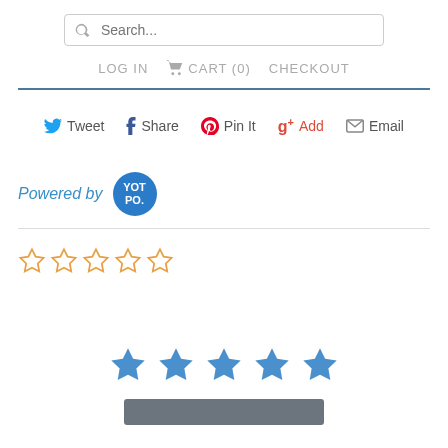[Figure (screenshot): Search bar with magnifying glass icon and placeholder text 'Search...']
LOG IN   CART (0)   CHECKOUT
[Figure (infographic): Social sharing row: Tweet, Share, Pin It, Add, Email]
Powered by YOTPO
[Figure (infographic): Five empty orange star rating]
[Figure (infographic): Five filled blue star rating]
[Figure (infographic): Dark gray button bar at bottom]